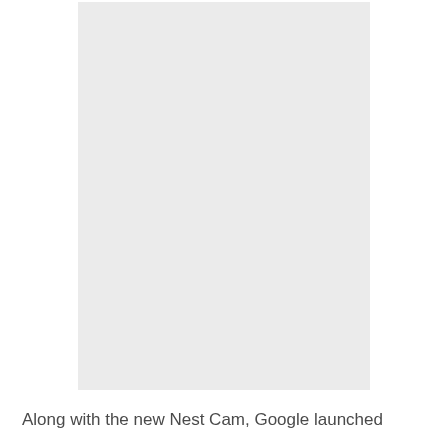[Figure (photo): A light gray rectangular placeholder image occupying the upper portion of the page.]
Along with the new Nest Cam, Google launched